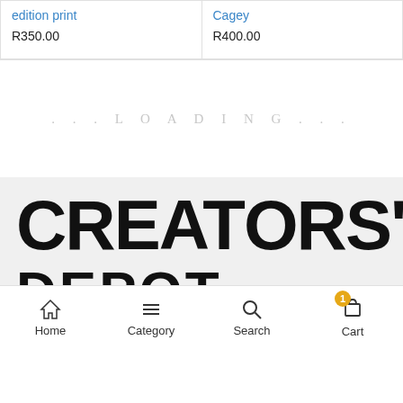edition print
R350.00
Cagey
R400.00
...LOADING...
[Figure (logo): CREATORS' DEPOT logo in large bold black text on light grey background]
Home  Category  Search  Cart